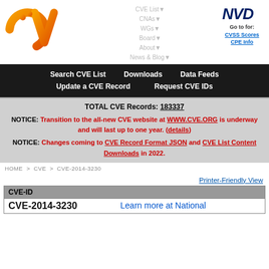[Figure (logo): CVE orange logo with text CVE]
CVE List▼
CNAs▼
WGs▼
Board▼
About▼
News & Blog▼
[Figure (logo): NVD logo in dark blue italic bold font]
Go to for:
CVSS Scores
CPE Info
Search CVE List    Downloads    Data Feeds
Update a CVE Record    Request CVE IDs
TOTAL CVE Records: 183337

NOTICE: Transition to the all-new CVE website at WWW.CVE.ORG is underway and will last up to one year. (details)

NOTICE: Changes coming to CVE Record Format JSON and CVE List Content Downloads in 2022.
HOME > CVE > CVE-2014-3230
Printer-Friendly View
| CVE-ID |  |
| --- | --- |
| CVE-2014-3230 | Learn more at National |